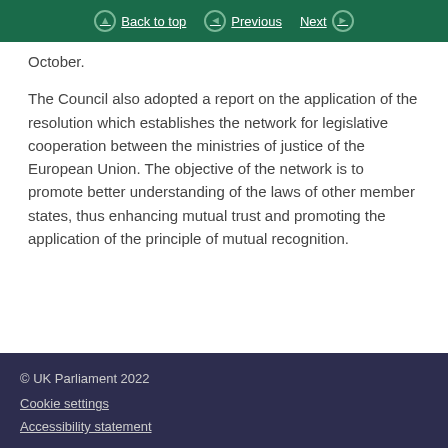Back to top | Previous | Next
October.
The Council also adopted a report on the application of the resolution which establishes the network for legislative cooperation between the ministries of justice of the European Union. The objective of the network is to promote better understanding of the laws of other member states, thus enhancing mutual trust and promoting the application of the principle of mutual recognition.
© UK Parliament 2022
Cookie settings
Accessibility statement